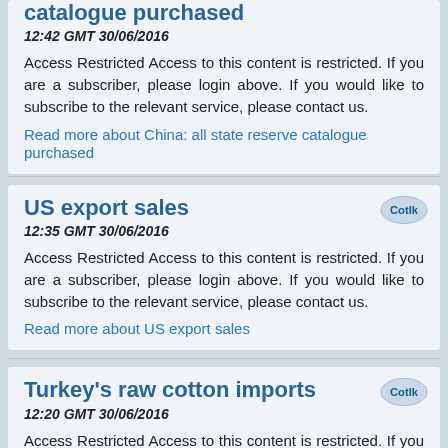catalogue purchased
12:42 GMT 30/06/2016
Access Restricted Access to this content is restricted. If you are a subscriber, please login above. If you would like to subscribe to the relevant service, please contact us.
Read more about China: all state reserve catalogue purchased
US export sales
12:35 GMT 30/06/2016
Access Restricted Access to this content is restricted. If you are a subscriber, please login above. If you would like to subscribe to the relevant service, please contact us.
Read more about US export sales
Turkey's raw cotton imports
12:20 GMT 30/06/2016
Access Restricted Access to this content is restricted. If you are a subscriber, please login above. If you would like to subscribe to the relevant service, please contact us.